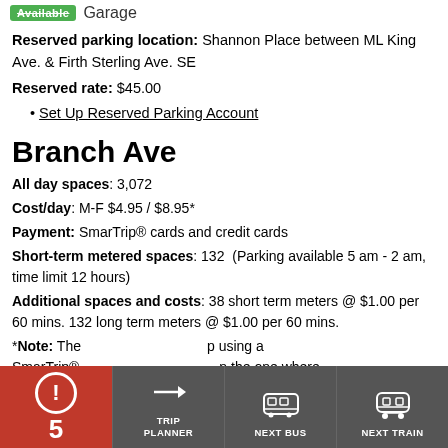Available Garage
Reserved parking location: Shannon Place between ML King Ave. & Firth Sterling Ave. SE
Reserved rate: $45.00
Set Up Reserved Parking Account
Branch Ave
All day spaces: 3,072
Cost/day: M-F $4.95 / $8.95*
Payment: SmarTrip® cards and credit cards
Short-term metered spaces: 132 (Parking available 5 am - 2 am, time limit 12 hours)
Additional spaces and costs: 38 short term meters @ $1.00 per 60 mins. 132 long term meters @ $1.00 per 60 mins.
*Note: The higher rate applies to using a SmarTrip® ... in the one where you ... st pay for your parki... ...nter/exit
[Figure (screenshot): Bottom navigation bar with alert (red, showing exclamation mark and number 5), Trip Planner, Next Bus, and Next Train buttons]